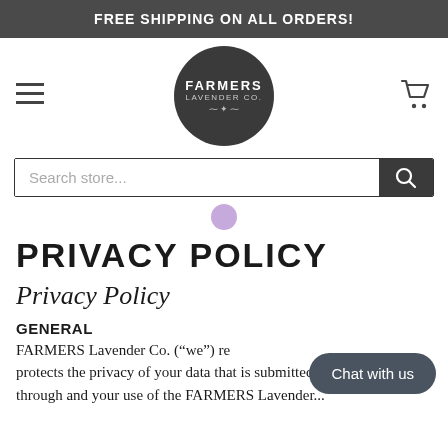FREE SHIPPING ON ALL ORDERS!
[Figure (logo): Farmers Lavender Co. circular dark logo with decorative script]
Search store...
PRIVACY POLICY
Privacy Policy
GENERAL
FARMERS Lavender Co. (“we”) respects and protects the privacy of your data that is submitted through and your use of the FARMERS Lavender...